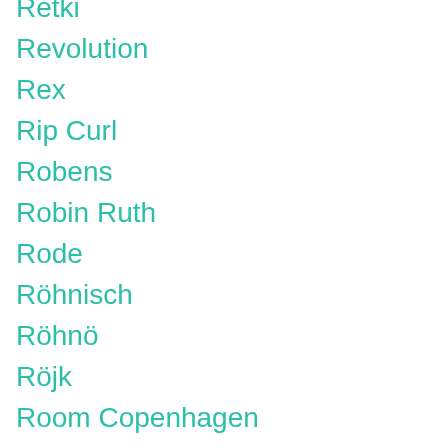Retki
Revolution
Rex
Rip Curl
Robens
Robin Ruth
Rode
Röhnisch
Röhnö
Röjk
Room Copenhagen
Roselli